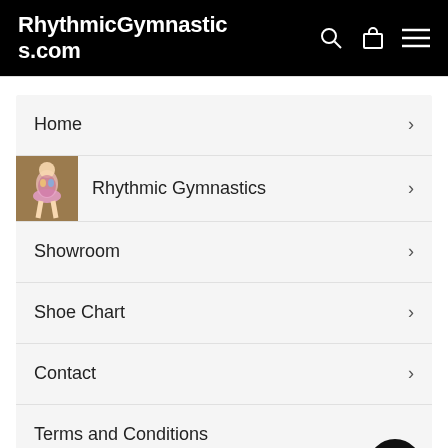RhythmicGymnastics.com
Home
Rhythmic Gymnastics
Showroom
Shoe Chart
Contact
Terms and Conditions